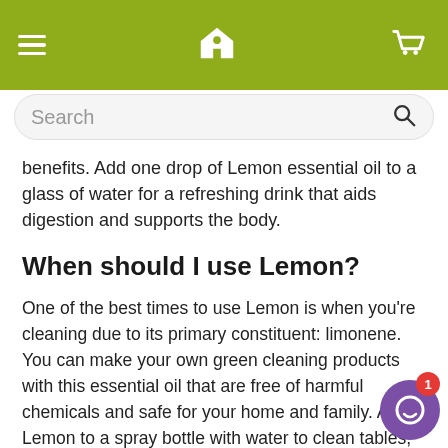Navigation header with hamburger menu, home icon, and cart icon
Search
benefits. Add one drop of Lemon essential oil to a glass of water for a refreshing drink that aids digestion and supports the body.
When should I use Lemon?
One of the best times to use Lemon is when you're cleaning due to its primary constituent: limonene. You can make your own green cleaning products with this essential oil that are free of harmful chemicals and safe for your home and family. Add Lemon to a spray bottle with water to clean tables, countertops, and other surfaces. Wipe down stainless steel appliances with a soft cloth soaked in Lemon for streak-free clean. And for a gentle furniture polish, mix a few drops of Lemon with olive oil on a cloth to clean and shine wood surfaces. Not only does Lemon provide a natural and effective cleaning around the home, but it smells amazing as well!